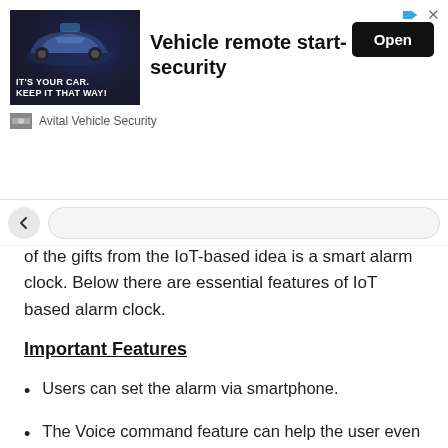[Figure (other): Advertisement banner for Avital Vehicle Security - Vehicle remote start-security app with car image and Open button]
of the gifts from the IoT-based idea is a smart alarm clock. Below there are essential features of IoT based alarm clock.
Important Features
Users can set the alarm via smartphone.
The Voice command feature can help the user even to start a video chat.
Automatic brightness adjustment according to day or night.